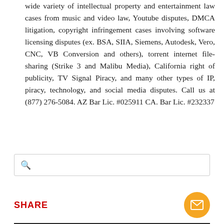wide variety of intellectual property and entertainment law cases from music and video law, Youtube disputes, DMCA litigation, copyright infringement cases involving software licensing disputes (ex. BSA, SIIA, Siemens, Autodesk, Vero, CNC, VB Conversion and others), torrent internet file-sharing (Strike 3 and Malibu Media), California right of publicity, TV Signal Piracy, and many other types of IP, piracy, technology, and social media disputes. Call us at (877) 276-5084. AZ Bar Lic. #025911 CA. Bar Lic. #232337
[Figure (other): Search box with magnifying glass icon]
SHARE
[Figure (other): Orange circular email/envelope button]